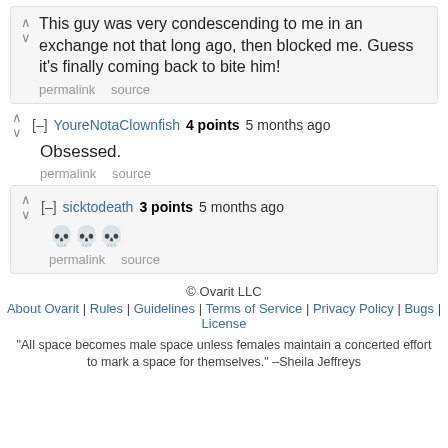This guy was very condescending to me in an exchange not that long ago, then blocked me. Guess it's finally coming back to bite him!
permalink   source
[–] YoureNotaClownfish 4 points 5 months ago
Obsessed.
permalink   source
[–] sicktodeath 3 points 5 months ago
💀💀💀
permalink   source
© Ovarit LLC
About Ovarit | Rules | Guidelines | Terms of Service | Privacy Policy | Bugs | License
"All space becomes male space unless females maintain a concerted effort to mark a space for themselves." –Sheila Jeffreys